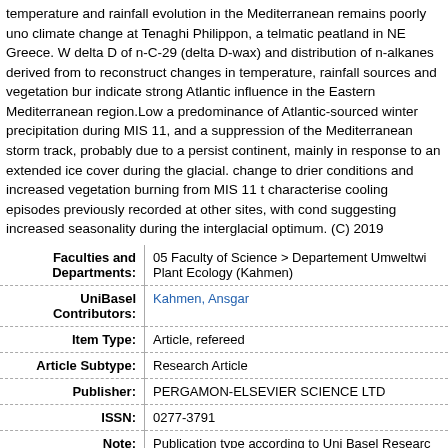temperature and rainfall evolution in the Mediterranean remains poorly understood. We studied climate change at Tenaghi Philippon, a telmatic peatland in NE Greece. We measured delta D of n-C-29 (delta D-wax) and distribution of n-alkanes derived from leaf waxes to reconstruct changes in temperature, rainfall sources and vegetation burning. Our results indicate strong Atlantic influence in the Eastern Mediterranean region. Low delta D-wax values indicate a predominance of Atlantic-sourced winter precipitation during MIS 11, and high delta D-wax values indicate a suppression of the Mediterranean storm track, probably due to a persistent high-pressure over the continent, mainly in response to an extended ice cover during the glacial. The data also record a change to drier conditions and increased vegetation burning from MIS 11 to MIS 10. Our results characterise cooling episodes previously recorded at other sites, with conditions during MIS 11 suggesting increased seasonality during the interglacial optimum. (C) 2019
| Field | Value |
| --- | --- |
| Faculties and Departments: | 05 Faculty of Science > Departement Umweltwi...
Plant Ecology (Kahmen) |
| UniBasel Contributors: | Kahmen, Ansgar |
| Item Type: | Article, refereed |
| Article Subtype: | Research Article |
| Publisher: | PERGAMON-ELSEVIER SCIENCE LTD |
| ISSN: | 0277-3791 |
| Note: | Publication type according to Uni Basel Resear... |
| Identification Number: | doi: 10.1016/j.quascirev.2019.105977
isi: 000498754500004 |
| Last Modified: | 24 Aug 2020 13:48 |
| Deposited On: | 24 Aug 2020 13:48 |